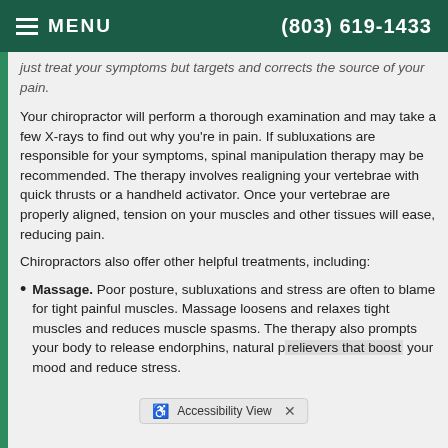MENU  (803) 619-1433
just treat your symptoms but targets and corrects the source of your pain.
Your chiropractor will perform a thorough examination and may take a few X-rays to find out why you're in pain. If subluxations are responsible for your symptoms, spinal manipulation therapy may be recommended. The therapy involves realigning your vertebrae with quick thrusts or a handheld activator. Once your vertebrae are properly aligned, tension on your muscles and other tissues will ease, reducing pain.
Chiropractors also offer other helpful treatments, including:
Massage. Poor posture, subluxations and stress are often to blame for tight painful muscles. Massage loosens and relaxes tight muscles and reduces muscle spasms. The therapy also prompts your body to release endorphins, natural p... your mood and reduce stress.